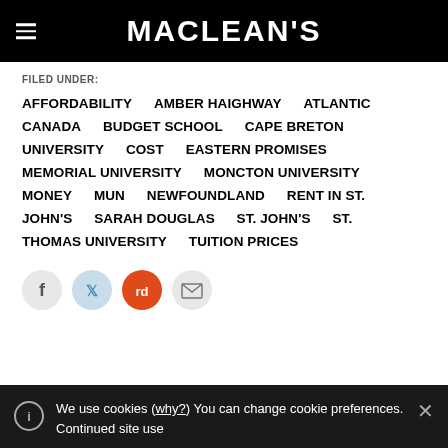MACLEAN'S
FILED UNDER:
AFFORDABILITY
AMBER HAIGHWAY
ATLANTIC CANADA
BUDGET SCHOOL
CAPE BRETON UNIVERSITY
COST
EASTERN PROMISES
MEMORIAL UNIVERSITY
MONCTON UNIVERSITY
MONEY
MUN
NEWFOUNDLAND
RENT IN ST. JOHN'S
SARAH DOUGLAS
ST. JOHN'S
ST. THOMAS UNIVERSITY
TUITION PRICES
We use cookies (why?) You can change cookie preferences. Continued site use